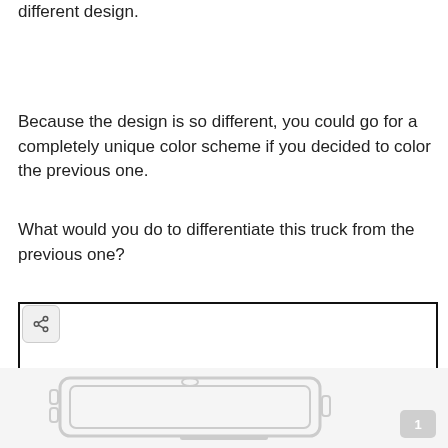different design.
Because the design is so different, you could go for a completely unique color scheme if you decided to color the previous one.
What would you do to differentiate this truck from the previous one?
[Figure (other): A blank white drawing/response box with a share button icon in the top-left corner, intended for user input or drawing.]
[Figure (illustration): Bottom strip showing an outline illustration of a mobile phone or tablet device in light gray tones.]